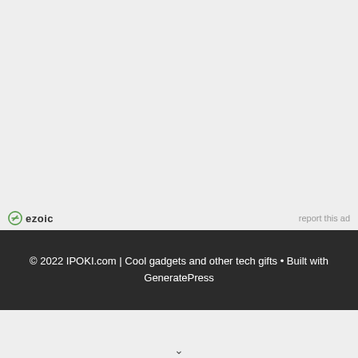[Figure (other): Ezoic ad placeholder area (light gray background)]
ezoic   report this ad
© 2022 IPOKI.com | Cool gadgets and other tech gifts • Built with GeneratePress